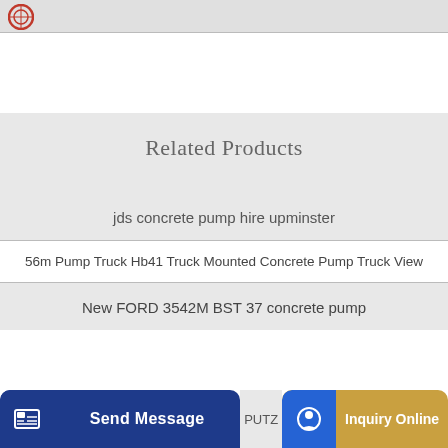Related Products
jds concrete pump hire upminster
56m Pump Truck Hb41 Truck Mounted Concrete Pump Truck View
New FORD 3542M BST 37 concrete pump
PUTZ
Send Message
Inquiry Online